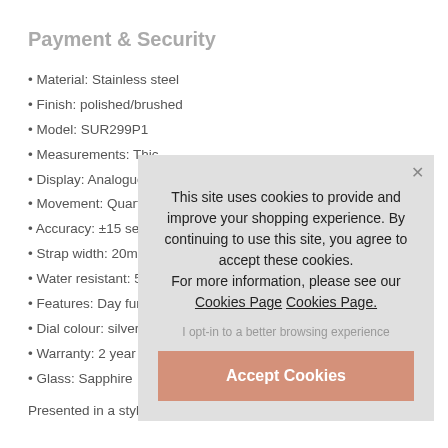Payment & Security
• Material: Stainless steel
• Finish: polished/brushed
• Model: SUR299P1
• Measurements: Thic…
• Display: Analogue
• Movement: Quartz
• Accuracy: ±15 seco…
• Strap width: 20mm
• Water resistant: 50m…
• Features: Day funct…
• Dial colour: silver
• Warranty: 2 year lim…
• Glass: Sapphire
Presented in a stylish…
[Figure (screenshot): Cookie consent modal overlay with text: 'This site uses cookies to provide and improve your shopping experience. By continuing to use this site, you agree to accept these cookies. For more information, please see our Cookies Page Cookies Page.' with an opt-in link and Accept Cookies button.]